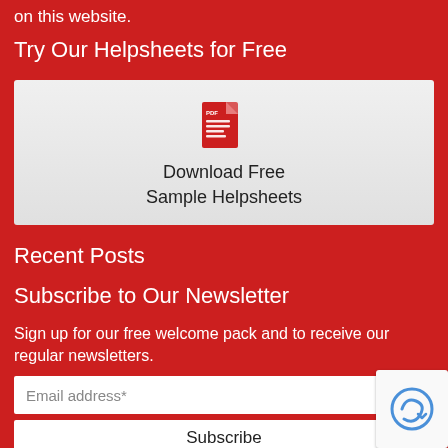on this website.
Try Our Helpsheets for Free
[Figure (illustration): White/light grey box with a red PDF document icon above text reading 'Download Free Sample Helpsheets']
Recent Posts
Subscribe to Our Newsletter
Sign up for our free welcome pack and to receive our regular newsletters.
Email address*
Subscribe